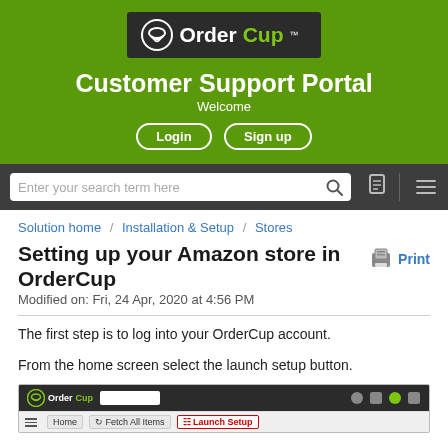[Figure (screenshot): OrderCup Customer Support Portal header banner with logo, title, Welcome text, Login and Sign up buttons on green background]
[Figure (screenshot): Search bar with text field 'Enter your search term here', search icon, document icon, divider, and hamburger menu on dark background]
Solution home / Installation & Setup / Stores
Setting up your Amazon store in OrderCup
Modified on: Fri, 24 Apr, 2020 at 4:56 PM
The first step is to log into your OrderCup account.
From the home screen select the launch setup button.
[Figure (screenshot): OrderCup application screenshot showing top navigation bar with OrderCup logo, search box, and bottom navigation bar showing Home, Fetch All Items, and Launch Setup button highlighted in red]